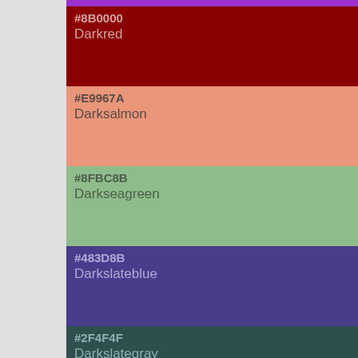#8B0000 Darkred
#E9967A Darksalmon
#8FBC8B Darkseagreen
#483D8B Darkslateblue
#2F4F4F Darkslategray
#00CED1 Darkturquoise
#9400D3 Darkviolet
#FF1493 Deeppink
#00BFFF Deepskyblue